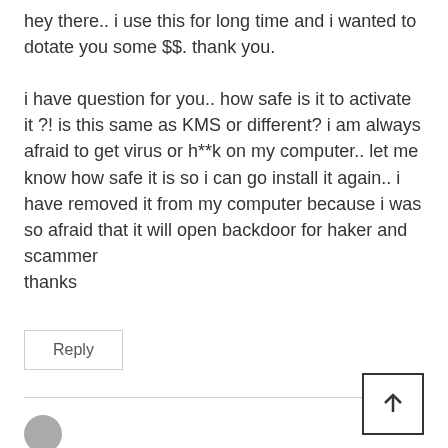hey there.. i use this for long time and i wanted to dotate you some $$. thank you.

i have question for you.. how safe is it to activate it ?! is this same as KMS or different? i am always afraid to get virus or h**k on my computer.. let me know how safe it is so i can go install it again.. i have removed it from my computer because i was so afraid that it will open backdoor for haker and scammer
thanks
Reply